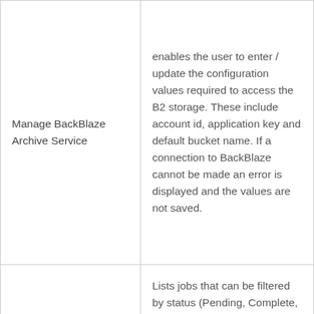| Manage BackBlaze Archive Service | enables the user to enter / update the configuration values required to access the B2 storage. These include account id, application key and default bucket name. If a connection to BackBlaze cannot be made an error is displayed and the values are not saved. |
| View BackBlaze Archive Service Job Queue | Lists jobs that can be filtered by status (Pending, Complete, Failed, All). It provides the capability to view job contents, view job results and cancel waiting or queued jobs. |